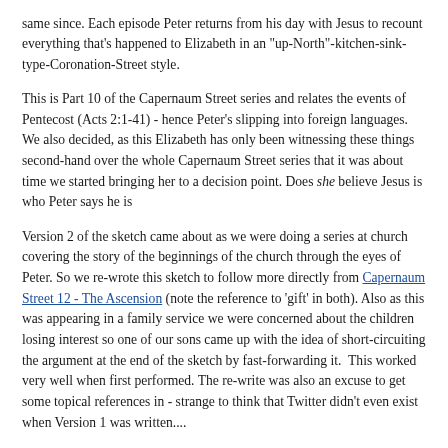same since. Each episode Peter returns from his day with Jesus to recount everything that's happened to Elizabeth in an "up-North"-kitchen-sink-type-Coronation-Street style.
This is Part 10 of the Capernaum Street series and relates the events of Pentecost (Acts 2:1-41) - hence Peter's slipping into foreign languages. We also decided, as this Elizabeth has only been witnessing these things second-hand over the whole Capernaum Street series that it was about time we started bringing her to a decision point. Does she believe Jesus is who Peter says he is
Version 2 of the sketch came about as we were doing a series at church covering the story of the beginnings of the church through the eyes of Peter. So we re-wrote this sketch to follow more directly from Capernaum Street 12 - The Ascension (note the reference to 'gift' in both). Also as this was appearing in a family service we were concerned about the children losing interest so one of our sons came up with the idea of short-circuiting the argument at the end of the sketch by fast-forwarding it.  This worked very well when first performed. The re-write was also an excuse to get some topical references in - strange to think that Twitter didn't even exist when Version 1 was written....
(Note: the Part numbers refer to the order the sketches were